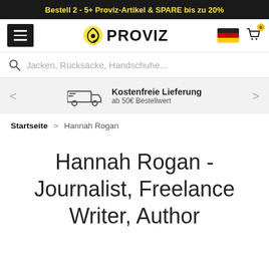Bestell 2 - 5+ Proviz-Artikel & SPARE bis zu 20%
[Figure (logo): Proviz logo with hamburger menu, German flag and cart icon with 0 badge]
Jacken, Rücksäcke, Handschuhe...
Kostenfreie Lieferung ab 50€ Bestellwert
Startseite > Hannah Rogan
Hannah Rogan - Journalist, Freelance Writer, Author